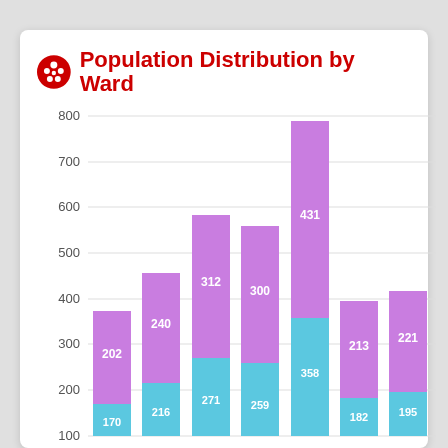Population Distribution by Ward
[Figure (stacked-bar-chart): Population Distribution by Ward]